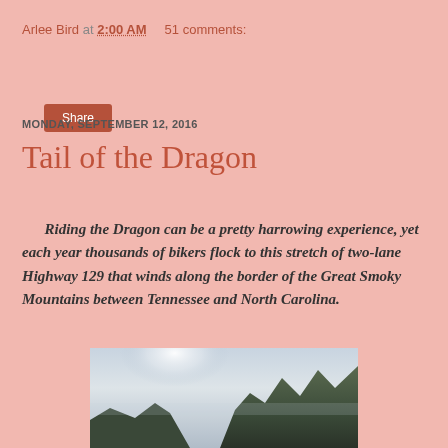Arlee Bird at 2:00 AM    51 comments:
Share
MONDAY, SEPTEMBER 12, 2016
Tail of the Dragon
Riding the Dragon can be a pretty harrowing experience, yet each year thousands of bikers flock to this stretch of two-lane Highway 129 that winds along the border of the Great Smoky Mountains between Tennessee and North Carolina.
[Figure (photo): A misty mountain road scene with foggy skies and forested hillsides, likely along the Tail of the Dragon route in the Great Smoky Mountains area.]